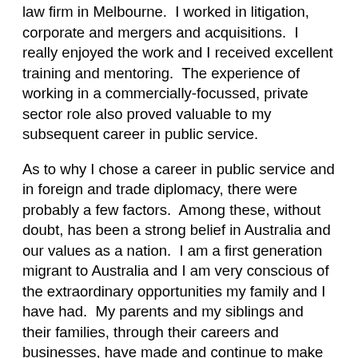law firm in Melbourne.  I worked in litigation, corporate and mergers and acquisitions.  I really enjoyed the work and I received excellent training and mentoring.  The experience of working in a commercially-focussed, private sector role also proved valuable to my subsequent career in public service.
As to why I chose a career in public service and in foreign and trade diplomacy, there were probably a few factors.  Among these, without doubt, has been a strong belief in Australia and our values as a nation.  I am a first generation migrant to Australia and I am very conscious of the extraordinary opportunities my family and I have had.  My parents and my siblings and their families, through their careers and businesses, have made and continue to make their contributions to Australian society.  For my part this has included the privilege of serving and representing Australia overseas.
You previously served as Deputy Permanent